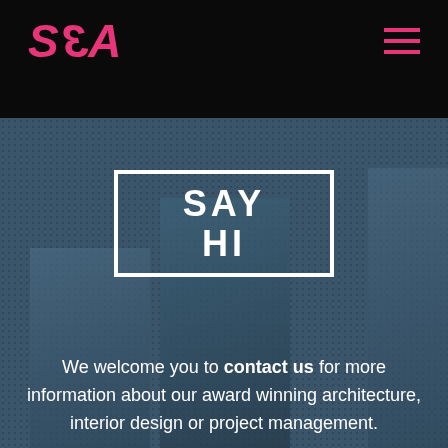SBA
SAY HI
We welcome you to contact us for more information about our award winning architecture, interior design or project management.